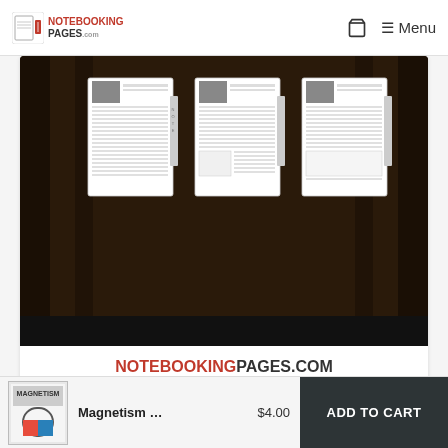NOTEBOOKING PAGES — Menu
[Figure (screenshot): Product image showing three notebooking page templates with a portrait photo slot and lined writing space, displayed against a dark church interior background. Banner at the bottom reads NOTEBOOKINGPAGES.COM]
Famous People of Church History Notebooking Pages
$5.00
[Figure (photo): Small thumbnail image of Magnetism notebooking pages product showing a magnet on the cover]
Magnetism ... $4.00
ADD TO CART